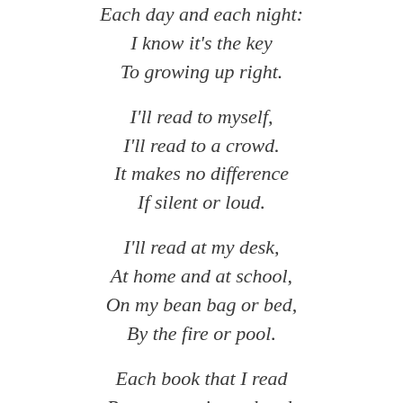Each day and each night:
I know it's the key
To growing up right.
I'll read to myself,
I'll read to a crowd.
It makes no difference
If silent or loud.
I'll read at my desk,
At home and at school,
On my bean bag or bed,
By the fire or pool.
Each book that I read
Puts smarts in my head,
'Cause brains grow more thoughts